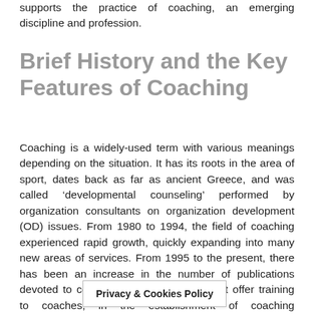supports the practice of coaching, an emerging discipline and profession.
Brief History and the Key Features of Coaching
Coaching is a widely-used term with various meanings depending on the situation. It has its roots in the area of sport, dates back as far as ancient Greece, and was called ‘developmental counseling’ performed by organization consultants on organization development (OD) issues. From 1980 to 1994, the field of coaching experienced rapid growth, quickly expanding into many new areas of services. From 1995 to the present, there has been an increase in the number of publications devoted to coaching, in organizations that offer training to coaches, in the establishment of coaching organizations, and in coaching